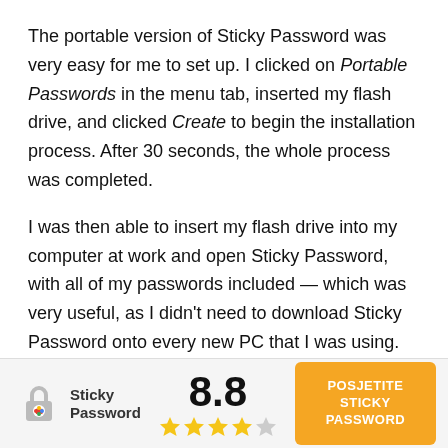The portable version of Sticky Password was very easy for me to set up. I clicked on Portable Passwords in the menu tab, inserted my flash drive, and clicked Create to begin the installation process. After 30 seconds, the whole process was completed.
I was then able to insert my flash drive into my computer at work and open Sticky Password, with all of my passwords included — which was very useful, as I didn't need to download Sticky Password onto every new PC that I was using.
When I reconnected my USB flash drive to my PC...
[Figure (logo): Sticky Password logo with lock icon]
8.8
POSJETITE STICKY PASSWORD